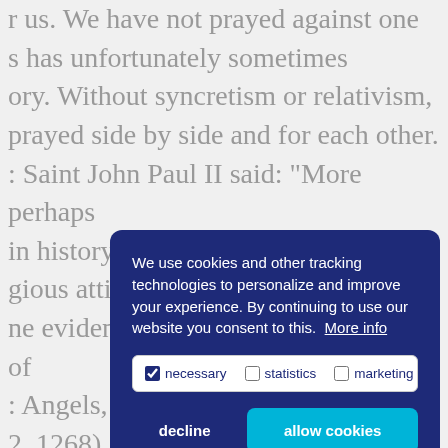r us. We have not prayed against one s has unfortunately sometimes ory. Without syncretism or relativism, prayed side by side and for each other. : Saint John Paul II said: "More perhaps in history, the intrinsic link between gious attitude and the great good of ne evident to all" (Address, Basilica of : Angels, 27 October 1986: 2, 1268). Continuing the journey which rs ago in Assisi, where the memory of and of peace again, nce against, ever us, on's de Representatives of the World Religions y 2002: re that ne true nature of religion, it is the gion and contributes. Address at the Day of Reflection, Dialogue Peace and Justice in the World, Assisi, 27
We use cookies and other tracking technologies to personalize and improve your experience. By continuing to use our website you consent to this. More info
necessary | statistics | marketing
decline | allow cookies